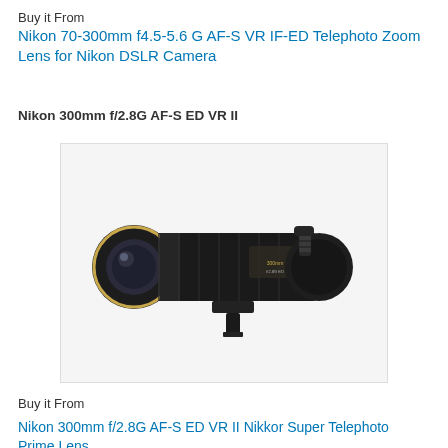Buy it From
Nikon 70-300mm f4.5-5.6 G AF-S VR IF-ED Telephoto Zoom Lens for Nikon DSLR Camera
Nikon 300mm f/2.8G AF-S ED VR II
[Figure (photo): Nikon 300mm f/2.8G AF-S ED VR II telephoto prime lens on a white background, showing a large black telephoto lens with gold accent ring around the front element, textured barrel, and tripod collar mount.]
Buy it From
Nikon 300mm f/2.8G AF-S ED VR II Nikkor Super Telephoto Prime Lens